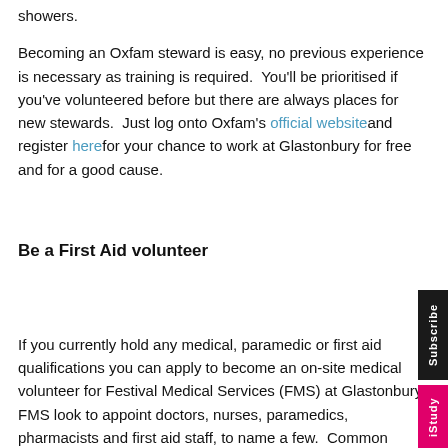showers.
Becoming an Oxfam steward is easy, no previous experience is necessary as training is required.  You'll be prioritised if you've volunteered before but there are always places for new stewards.  Just log onto Oxfam's official website and register here for your chance to work at Glastonbury for free and for a good cause.
Be a First Aid volunteer
If you currently hold any medical, paramedic or first aid qualifications you can apply to become an on-site medical volunteer for Festival Medical Services (FMS) at Glastonbury. FMS look to appoint doctors, nurses, paramedics, pharmacists and first aid staff, to name a few.  Common injuries and health complaints that occur at Glastonbury tend to be camping gas burns, hearing damage from loudspeakers, stomach bugs fro...